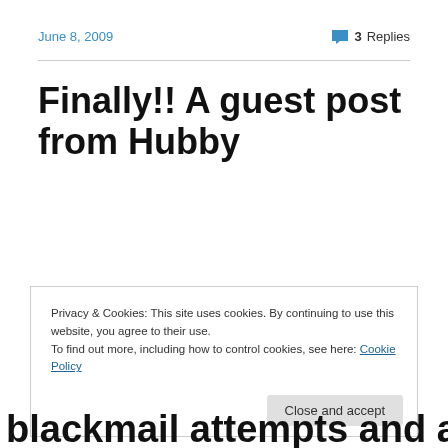June 8, 2009    💬 3 Replies
Finally!! A guest post from Hubby
Privacy & Cookies: This site uses cookies. By continuing to use this website, you agree to their use.
To find out more, including how to control cookies, see here: Cookie Policy
Close and accept
blackmail attempts and a few stares, I